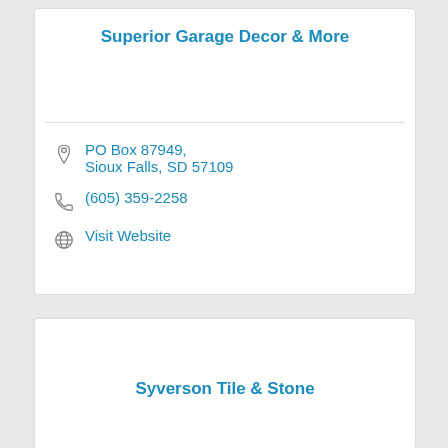Superior Garage Decor & More
PO Box 87949, Sioux Falls, SD 57109
(605) 359-2258
Visit Website
Syverson Tile & Stone